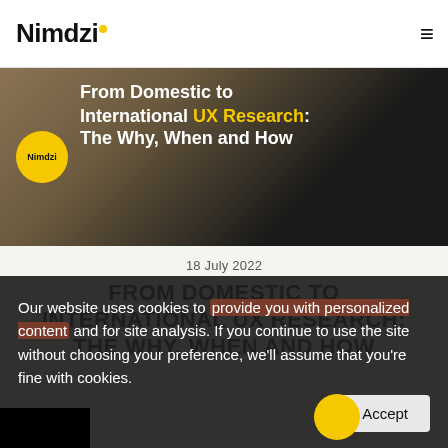Nimdzi
[Figure (illustration): Hero banner image for article 'From Domestic to International UX Research: The Why, When and How' with dark background, Nimdzi yellow circle logo badge on left, and white/yellow bold title text on right side]
18 July 2022
FROM DOMESTIC TO INTERNATIONAL UX RESEARCH: THE WHY, WHEN AND HOW
Our website uses cookies to provide you with personalized content and for site analysis. If you continue to use the site without choosing your preference, we'll assume that you're fine with cookies.
I Accept